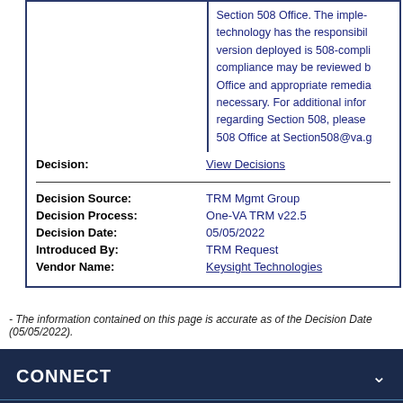Section 508 Office. The implementing technology has the responsibility to ensure the version deployed is 508-compliant. Any issues with compliance may be reviewed by the Section 508 Office and appropriate remediation may be necessary. For additional information regarding Section 508, please contact the Section 508 Office at Section508@va.g
Decision: View Decisions
| Field | Value |
| --- | --- |
| Decision Source: | TRM Mgmt Group |
| Decision Process: | One-VA TRM v22.5 |
| Decision Date: | 05/05/2022 |
| Introduced By: | TRM Request |
| Vendor Name: | Keysight Technologies |
- The information contained on this page is accurate as of the Decision Date (05/05/2022).
CONNECT